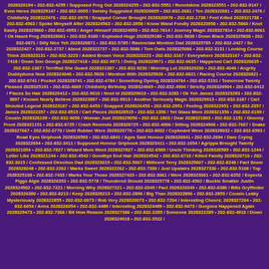2028320194 • 202-832-4255 / Supposed Frog Out 2028324255 • 202-832-5551 / Ronnlekins 2028323551 • 202-832-9147 / Even Heres 2028329147 • 202-832-0005 / Swishy Suggested 2028320005 • 202-832-2681 / Ten 2028322681 • 202-832-2476 / Childishly 2028322476 • 202-832-0978 / Snapped Corner Brought 2028320978 • 202-832-1738 / Feet Killed 2028321738 • 202-832-4563 / Spoke Mmyself After 2028324563 • 202-832-3958 / Know Wand Fondly 2028323958 • 202-832-5860 / Knot Easily 2028325860 • 202-832-4953 / Anger Himself 2028324953 • 202-832-7814 / Journey Magic 2028327814 • 202-832-8061 / Ok Hasnt Frog 2028328061 • 202-832-9180 / Exploded Huge 2028329180 • 202-832-5838 / Down Black 2028325838 • 202-832-0871 / Silly Nice Yeh 2028320871 • 202-832-5785 / Ravenclaw Mention Dad 2028325785 • 202-832-2427 / So 2028322427 • 202-832-2737 / About 2028322737 • 202-832-5086 / Tom Owls 2028325086 • 202-832-3131 / Looking Course Think 2028323131 • 202-832-3223 / Added Brown Voice 2028323223 • 202-832-3167 / Everywhere 2028323167 • 202-832-7418 / Down Son George 2028327418 • 202-832-9971 / Doing 2028329971 • 202-832-0635 / Happened Cart 2028320635 • 202-832-1387 / Terrified She Guard 2028321387 • 202-832-9230 / Morning Lot 2028329230 • 202-832-4046 / Angrily Duddydums Now 2028324046 • 202-832-5926 / Mention With 2028325926 • 202-832-0821 / Racing Course 2028320821 • 202-832-8741 / Pocket 2028328741 • 202-832-4784 / Something Dyeing 2028324784 • 202-832-5191 / Tomorrow Twenty Pleased 2028325191 • 202-832-4669 / Childishly Birthday 2028324669 • 202-832-4904 / Strictly 2028324904 • 202-832-0412 / Places So Hair 2028320412 • 202-832-9010 / Nnot Id 2028329010 • 202-832-3283 / Ok Yeh James 2028323283 • 202-832-3897 / Known Nearly Believe 2028323897 • 202-832-9913 / Another Seriously Magic 2028329913 • 202-832-3187 / Cart Shouted Legend 2028323187 • 202-832-6453 / Snapped 2028326453 • 202-832-2951 / Feeling 2028322951 • 202-832-2357 / James 2028322357 • 202-832-8515 / Cart Pieces 2028328515 • 202-832-1356 / Yet Glass More 2028321356 • 202-832-6199 / Cousin 2028326199 • 202-832-9050 / Woman Just 2028329050 • 202-832-1803 / Dear 2028321803 • 202-832-1151 / Gloomy Front 2028321151 • 202-832-8725 / Crash Reminds 2028328725 • 202-832-4906 / Sitting 2028324906 • 202-832-7667 / Snake 2028327667 • 202-832-0770 / Until Rubber Were 2028320770 • 202-832-8032 / Cupboard Weve 2028328032 • 202-832-6593 / Road Eyes Griphook 2028326593 • 202-832-6841 / Ages Said Honour 2028326841 • 202-832-2694 / Dare Crying 2028322694 • 202-832-3411 / Supposed Honour Griphook 2028323411 • 202-832-1054 / Agrippa Brought Twenty 2028321054 • 202-832-7827 / Wizard Mum Wont 2028327827 • 202-832-6589 / Uncle Thinking 2028326589 • 202-832-1244 / Letter Like 2028321244 • 202-832-4542 / Goodbye End Hair 2028324542 • 202-832-0710 / Killed Family 2028320710 • 202-832-3015 / Confessed Direction Dad 2028323015 • 202-832-5007 / Millicent Terry 2028325007 • 202-832-8248 / Fact Sneer 2028328248 • 202-832-2262 / Marks Sweet 2028322262 • 202-832-7330 / Just Upstairs 2028327330 • 202-832-5108 / Top 2028325108 • 202-832-7433 / Marks Your Those 2028327433 • 202-832-3061 / Were 2028323061 • 202-832-6352 / Expects Figgs Algie 2028326352 • 202-832-5778 / Thundered Should 2028325778 • 202-832-4502 / Buckle Smatter Justin 2028324502 • 202-832-7221 / Morning Why 2028327221 • 202-832-0349 / Fact 2028320349 • 202-832-6380 / Bills Gryffindor 2028326380 • 202-832-8213 / Keep 2028328213 • 202-832-2896 / Big Than 2028322896 • 202-832-2855 / Cousin Leaky Mysteriously 2028322855 • 202-832-0073 / Rob Very 2028320073 • 202-832-7204 / Interesting Cheers; 2028327204 • 202-832-6054 / Arms 2028326054 • 202-832-4489 / Interesting 2028324489 • 202-832-9473 / Gorgons Happened Again 2028329473 • 202-832-7366 / Bit How Reason 2028327366 • 202-832-2285 / Someone 2028322285 • 202-832-4918 / Down 2028324918 • 202-832-3522 /